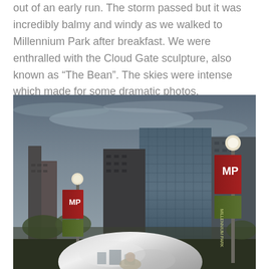out of an early run. The storm passed but it was incredibly balmy and windy as we walked to Millennium Park after breakfast. We were enthralled with the Cloud Gate sculpture, also known as “The Bean”. The skies were intense which made for some dramatic photos.
[Figure (photo): Photograph taken at Millennium Park in Chicago showing the Cloud Gate sculpture (The Bean) in the foreground bottom, with Chicago skyscrapers including a large glass tower in the background, Millennium Park banner flags visible on lamp posts, and a dramatic blue-grey stormy sky overhead.]